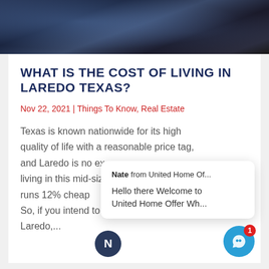[Figure (photo): Dark rocky landscape hero image at top of article page]
WHAT IS THE COST OF LIVING IN LAREDO TEXAS?
Nov 22, 2021 | Things To Know, Real Estate
Texas is known nationwide for its high quality of life with a reasonable price tag, and Laredo is no exc[eption]... living in this mid-size[d city]... runs 12% cheap[er]... So, if you intend to sell your house in Laredo,...
[Figure (screenshot): Chat popup overlay showing Nate from United Home Of... with message: Hello there Welcome to United Home Offer Wh...]